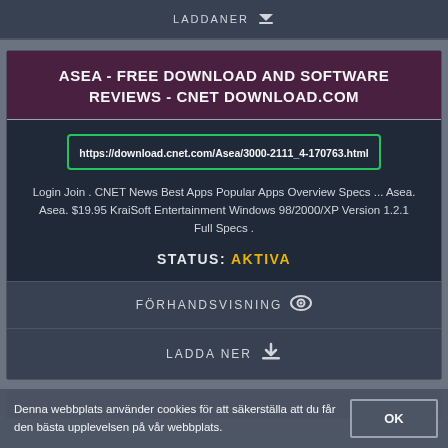LADDANER ↓
ASEA - FREE DOWNLOAD AND SOFTWARE REVIEWS - CNET DOWNLOAD.COM
https://download.cnet.com/Asea/3000-2111_4-170763.html
Login Join . CNET News Best Apps Popular Apps Overview Specs ... Asea. Asea. $19.95 KraiSoft Entertainment Windows 98/2000/XP Version 1.2.1 Full Specs .
STATUS: AKTIVA
FÖRHANDSVISNING 👁
LADDA NER ↓
Denna webbplats använder cookies för att säkerställa att du får den bästa upplevelsen på vår webbplats.